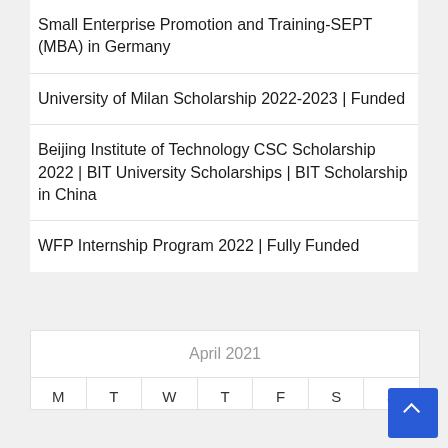Small Enterprise Promotion and Training-SEPT (MBA) in Germany
University of Milan Scholarship 2022-2023 | Funded
Beijing Institute of Technology CSC Scholarship 2022 | BIT University Scholarships | BIT Scholarship in China
WFP Internship Program 2022 | Fully Funded
| M | T | W | T | F | S | S |
| --- | --- | --- | --- | --- | --- | --- |